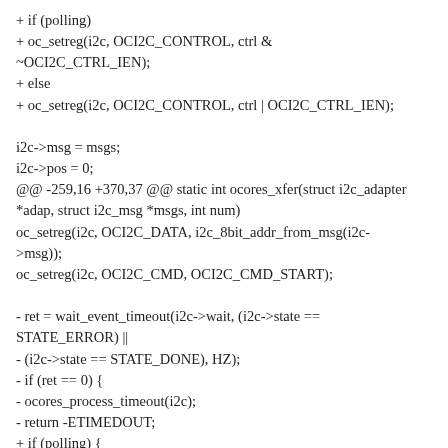+ if (polling)
+ oc_setreg(i2c, OCI2C_CONTROL, ctrl &
~OCI2C_CTRL_IEN);
+ else
+ oc_setreg(i2c, OCI2C_CONTROL, ctrl | OCI2C_CTRL_IEN);

i2c->msg = msgs;
i2c->pos = 0;
@@ -259,16 +370,37 @@ static int ocores_xfer(struct i2c_adapter *adap, struct i2c_msg *msgs, int num)
oc_setreg(i2c, OCI2C_DATA, i2c_8bit_addr_from_msg(i2c->msg));
oc_setreg(i2c, OCI2C_CMD, OCI2C_CMD_START);

- ret = wait_event_timeout(i2c->wait, (i2c->state == STATE_ERROR) ||
- (i2c->state == STATE_DONE), HZ);
- if (ret == 0) {
- ocores_process_timeout(i2c);
- return -ETIMEDOUT;
+ if (polling) {
+ ocores_process_polling(i2c);
+ } else {
+ ret = wait_event_timeout(i2c->wait,
+ (i2c->state == STATE_ERROR) ||